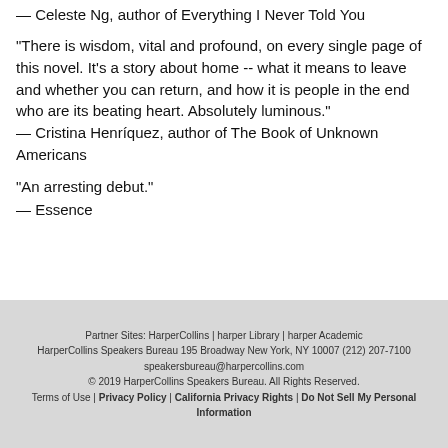— Celeste Ng, author of Everything I Never Told You
"There is wisdom, vital and profound, on every single page of this novel. It's a story about home -- what it means to leave and whether you can return, and how it is people in the end who are its beating heart. Absolutely luminous."
— Cristina Henríquez, author of The Book of Unknown Americans
"An arresting debut."
— Essence
Partner Sites: HarperCollins | harper Library | harper Academic
HarperCollins Speakers Bureau 195 Broadway New York, NY 10007 (212) 207-7100
speakersbureau@harpercollins.com
© 2019 HarperCollins Speakers Bureau. All Rights Reserved.
Terms of Use | Privacy Policy | California Privacy Rights | Do Not Sell My Personal Information